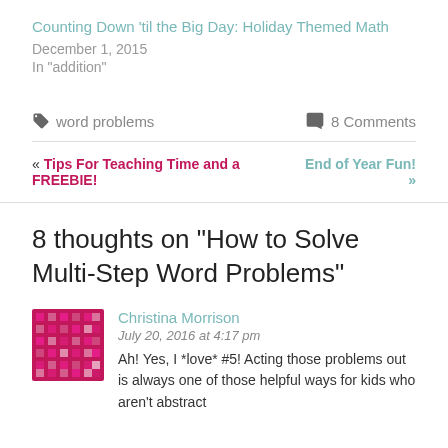Counting Down ‘til the Big Day: Holiday Themed Math
December 1, 2015
In "addition"
word problems   8 Comments
« Tips For Teaching Time and a FREEBIE!    End of Year Fun! »
8 thoughts on “How to Solve Multi-Step Word Problems”
Christina Morrison
July 20, 2016 at 4:17 pm
Ah! Yes, I *love* #5! Acting those problems out is always one of those helpful ways for kids who aren’t abstract